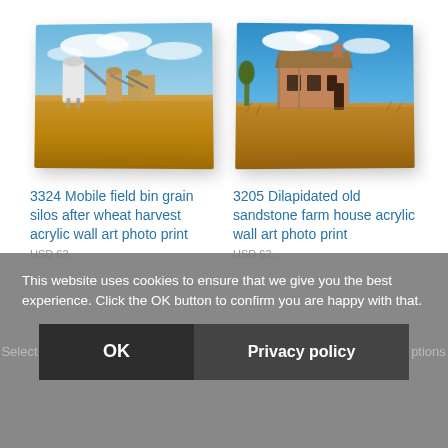[Figure (photo): Product photo: 3324 Mobile field bin grain silos after wheat harvest, shown as a tilted acrylic wall art print with perspective effect. Photo shows grain silos/bins in a golden wheat field under a blue sky.]
[Figure (photo): Product photo: 3205 Dilapidated old sandstone farm house, shown as a tilted acrylic wall art print with perspective effect. Photo shows an old stone farmhouse in a dry golden field under a blue sky.]
3324 Mobile field bin grain silos after wheat harvest acrylic wall art photo print
3205 Dilapidated old sandstone farm house acrylic wall art photo print
This website uses cookies to ensure that we give you the best experience. Click the OK button to confirm you are happy with that.
OK
Privacy policy